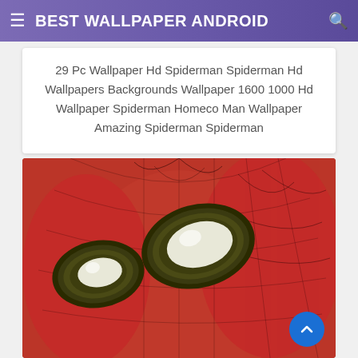BEST WALLPAPER ANDROID
29 Pc Wallpaper Hd Spiderman Spiderman Hd Wallpapers Backgrounds Wallpaper 1600 1000 Hd Wallpaper Spiderman Homeco Man Wallpaper Amazing Spiderman Spiderman
[Figure (illustration): Spider-Man mask/helmet close-up illustration on red background, showing the iconic large white eyes with dark olive/brown borders and red textured suit with black web pattern lines]